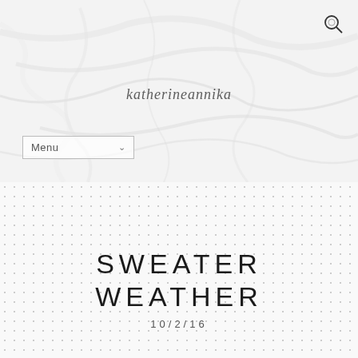[Figure (photo): Marble texture background used as website header image]
katherineannika
Menu
SWEATER WEATHER
10/2/16